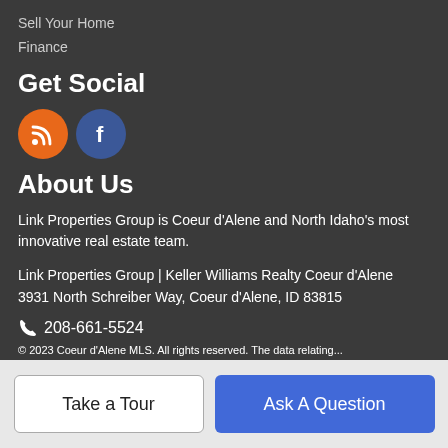Sell Your Home
Finance
Get Social
[Figure (illustration): Two social media icon circles: orange RSS icon and blue Facebook icon]
About Us
Link Properties Group is Coeur d'Alene and North Idaho's most innovative real estate team.
Link Properties Group | Keller Williams Realty Coeur d'Alene
3931 North Schreiber Way, Coeur d'Alene, ID 83815
208-661-5524
© 2023 Coeur d'Alene MLS. All rights reserved. The data relating...